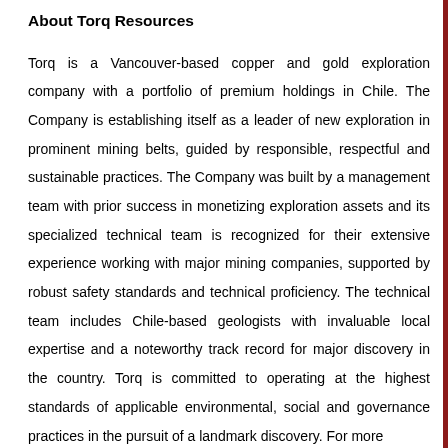About Torq Resources
Torq is a Vancouver-based copper and gold exploration company with a portfolio of premium holdings in Chile. The Company is establishing itself as a leader of new exploration in prominent mining belts, guided by responsible, respectful and sustainable practices. The Company was built by a management team with prior success in monetizing exploration assets and its specialized technical team is recognized for their extensive experience working with major mining companies, supported by robust safety standards and technical proficiency. The technical team includes Chile-based geologists with invaluable local expertise and a noteworthy track record for major discovery in the country. Torq is committed to operating at the highest standards of applicable environmental, social and governance practices in the pursuit of a landmark discovery. For more